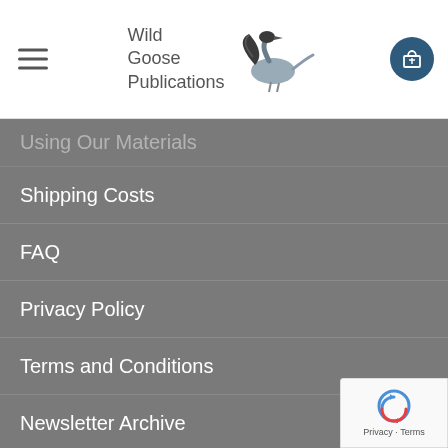Wild Goose Publications
Using Our Materials
Shipping Costs
FAQ
Privacy Policy
Terms and Conditions
Newsletter Archive
An Oral History of the Iona Community
MOBILE PHONE – WEB APP
A short prayer or reflection for each day, taken from our publications, which shows up on your mobile